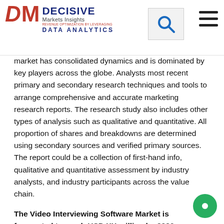Decisive Markets Insights — logo and navigation header
market has consolidated dynamics and is dominated by key players across the globe. Analysts most recent primary and secondary research techniques and tools to arrange comprehensive and accurate marketing research reports. The research study also includes other types of analysis such as qualitative and quantitative. All proportion of shares and breakdowns are determined using secondary sources and verified primary sources. The report could be a collection of first-hand info, qualitative and quantitative assessment by industry analysts, and industry participants across the value chain.
The Video Interviewing Software Market is forecasted to reach USD XX million by 2026, registering a CAGR of xx% during the forecast period 2020 - 2026 .
Scope of the report:
The research report provides analysis and information